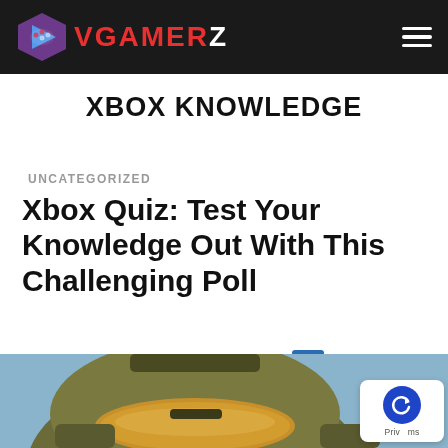VGAMERZ
XBOX KNOWLEDGE
UNCATEGORIZED
Xbox Quiz: Test Your Knowledge Out With This Challenging Poll
By Vgamerz, January 24, 2020 2:43 pm  0  ⚡ 703
[Figure (photo): Close-up photo of a Halo Master Chief helmet, gold visor visible, military green armor, blue sky background partially visible]